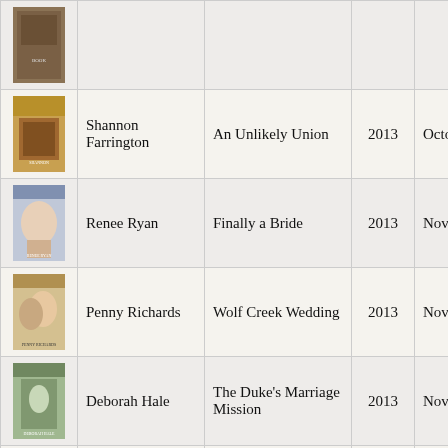| Cover | Author | Title | Year | Month | In |
| --- | --- | --- | --- | --- | --- |
| [image] |  |  |  |  |  |
| [image] | Shannon Farrington | An Unlikely Union | 2013 | October | I |
| [image] | Renee Ryan | Finally a Bride | 2013 | November | I |
| [image] | Penny Richards | Wolf Creek Wedding | 2013 | November | I |
| [image] | Deborah Hale | The Duke's Marriage Mission | 2013 | November | I |
| [image] | Karen Kirst | The Husband... | 2013 | November | I |